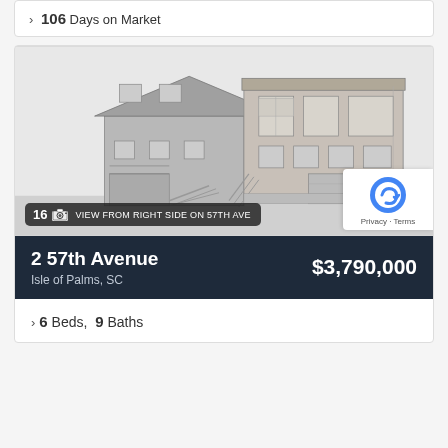106 Days on Market
[Figure (illustration): Architectural rendering of a two-story coastal home at 2 57th Avenue, Isle of Palms, SC. Black and white sketch showing the front/side elevation with garage below, stairs, multiple windows, and board-and-batten siding. Badge shows '16 photos' and caption reads 'VIEW FROM RIGHT SIDE ON 57TH AVE'.]
2 57th Avenue $3,790,000 Isle of Palms, SC
6 Beds, 9 Baths